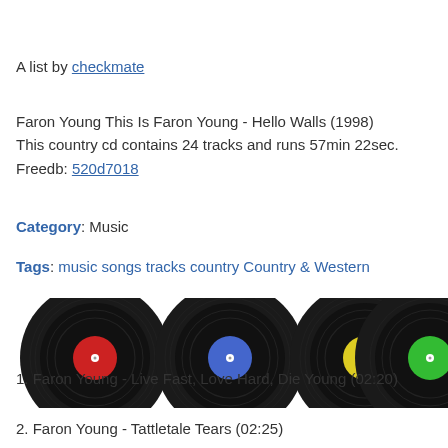A list by checkmate
Faron Young This Is Faron Young - Hello Walls (1998)
This country cd contains 24 tracks and runs 57min 22sec.
Freedb: 520d7018
Category: Music
Tags: music songs tracks country Country & Western
[Figure (illustration): A row of vinyl records with colored labels: red, blue, yellow, green, red, yellow-green, partially cut off]
1. Faron Young - Live Fast, Love Hard, Die Young (02:20)
2. Faron Young - Tattletale Tears (02:25)